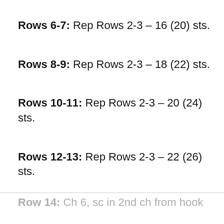Rows 6-7: Rep Rows 2-3 – 16 (20) sts.
Rows 8-9: Rep Rows 2-3 – 18 (22) sts.
Rows 10-11: Rep Rows 2-3 – 20 (24) sts.
Rows 12-13: Rep Rows 2-3 – 22 (26) sts.
Row 14: Ch 6, sc in 2nd ch from hook